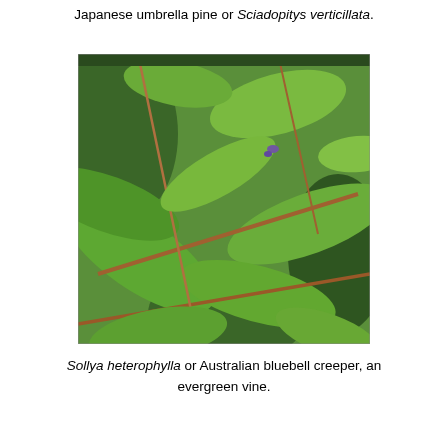Japanese umbrella pine or Sciadopitys verticillata.
[Figure (photo): Close-up photograph of Sollya heterophylla (Australian bluebell creeper), showing elongated green leaves and reddish-brown stems against a dense green foliage background.]
Sollya heterophylla or Australian bluebell creeper, an evergreen vine.